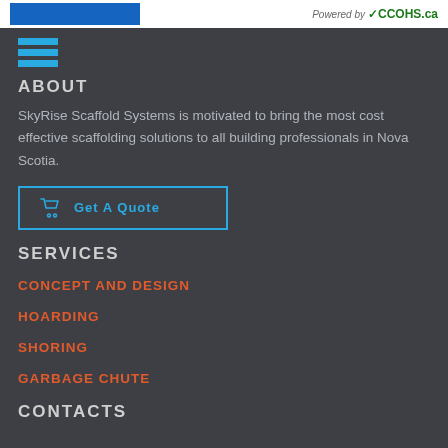[Figure (logo): Top banner with blue button on left and 'Powered by CCOHS.ca' logo on right, white background]
[Figure (illustration): Hamburger menu icon made of three horizontal blue bars]
ABOUT
SkyRise Scaffold Systems is motivated to bring the most cost effective scaffolding solutions to all building professionals in Nova Scotia.
Get A Quote
SERVICES
CONCEPT AND DESIGN
HOARDING
SHORING
GARBAGE CHUTE
CONTACTS